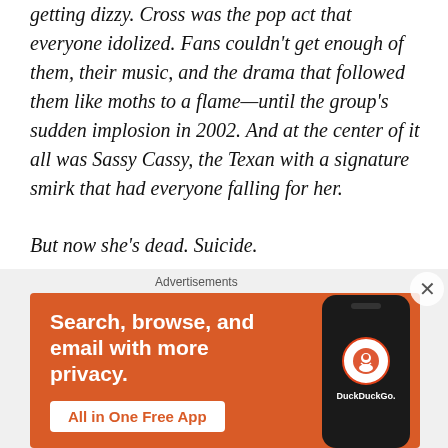getting dizzy. Cross was the pop act that everyone idolized. Fans couldn't get enough of them, their music, and the drama that followed them like moths to a flame—until the group's sudden implosion in 2002. And at the center of it all was Sassy Cassy, the Texan with a signature smirk that had everyone falling for her.
But now she's dead. Suicide.
The world is reeling from this unexpected news, but no one is more shocked than the three remaining Glossies. Fifteen years ago, Rose, Merry, and Yumi had been the
[Figure (infographic): DuckDuckGo advertisement banner with orange background. Text reads: 'Search, browse, and email with more privacy. All in One Free App'. Shows a smartphone with DuckDuckGo logo.]